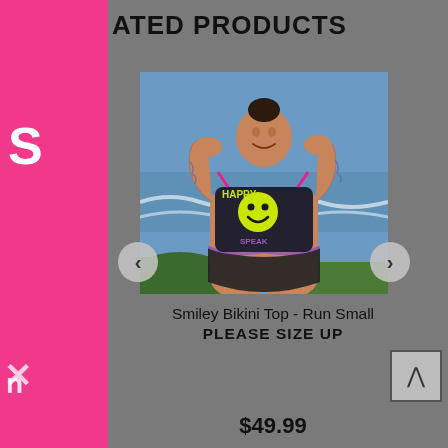ATED PRODUCTS
[Figure (photo): Woman wearing a Smiley face bikini top and bottoms, standing outdoors near the ocean with arms raised behind her head, smiling. The swimwear is dark/black with colorful graffiti-style text and a large neon yellow smiley face graphic. Navigation arrows (left and right) overlay the image.]
Smiley Bikini Top - Run Small
PLEASE SIZE UP
$49.99